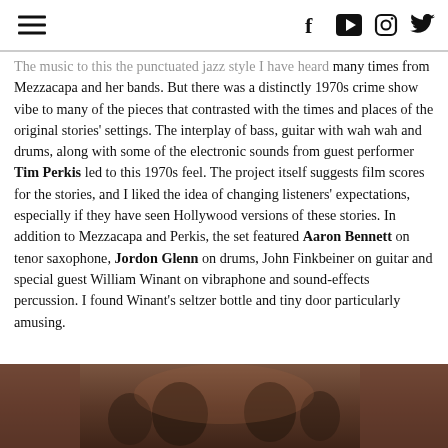Navigation and social media icons (hamburger menu, Facebook, YouTube, Instagram, Twitter)
The music to this the punctuated jazz style I have heard many times from Mezzacapa and her bands. But there was a distinctly 1970s crime show vibe to many of the pieces that contrasted with the times and places of the original stories' settings. The interplay of bass, guitar with wah wah and drums, along with some of the electronic sounds from guest performer Tim Perkis led to this 1970s feel. The project itself suggests film scores for the stories, and I liked the idea of changing listeners' expectations, especially if they have seen Hollywood versions of these stories. In addition to Mezzacapa and Perkis, the set featured Aaron Bennett on tenor saxophone, Jordon Glenn on drums, John Finkbeiner on guitar and special guest William Winant on vibraphone and sound-effects percussion. I found Winant's seltzer bottle and tiny door particularly amusing.
[Figure (photo): Photo of musicians performing, partially visible at bottom of page]